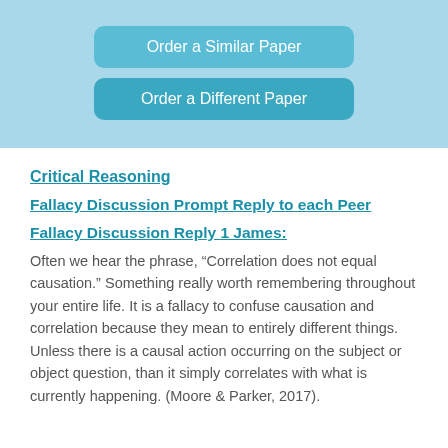[Figure (other): Two teal/blue rounded buttons: 'Order a Similar Paper' and 'Order a Different Paper' on a light blue banner background]
Critical Reasoning
Fallacy Discussion Prompt Reply to each Peer
Fallacy Discussion Reply 1 James:
Often we hear the phrase, “Correlation does not equal causation.” Something really worth remembering throughout your entire life. It is a fallacy to confuse causation and correlation because they mean to entirely different things. Unless there is a causal action occurring on the subject or object question, than it simply correlates with what is currently happening. (Moore & Parker, 2017).